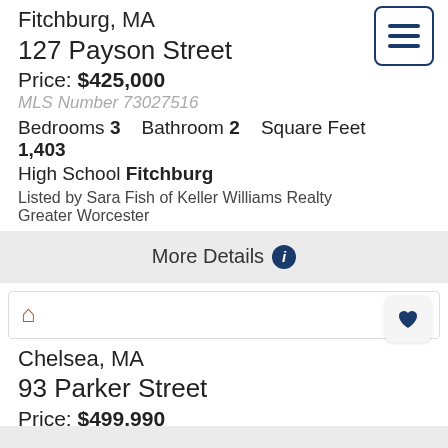Fitchburg, MA
127 Payson Street
Price: $425,000
MLS Number 73027516
Bedrooms 3   Bathroom 2   Square Feet 1,403
High School Fitchburg
Listed by Sara Fish of Keller Williams Realty Greater Worcester
More Details
Chelsea, MA
93 Parker Street
Price: $499,990
MLS Number 73030801
Bedrooms 3   Bathroom 2   Square Feet 1,024
Listed by Lisa Amara and Luca A. Amara of LA Realty and Property Consulting,LLC